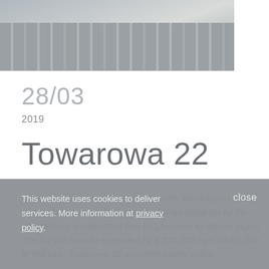[Figure (photo): Aerial view of urban buildings, grey/muted tones, architectural overview]
28/03
2019
Towarowa 22
Copenhagen, New York, Paris, Toronto, Washington – just some of the cities, which enjoy buildings designed by the international architectural firm BIG founded by Bjarke Ingels. The list will soon be extended by a 230,000 sqm urban plan in Warsaw: Towarowa 22, unveiled earlier today...
This website uses cookies to deliver services. More information at privacy policy.
close